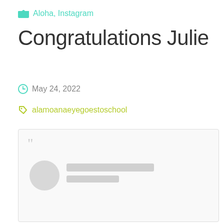Aloha, Instagram
Congratulations Julie
May 24, 2022
alamoanaeyegoestoschool
[Figure (screenshot): Embedded social media post card with a large quotation mark, a blurred circular avatar, and two placeholder gray bars representing a redacted username and handle.]